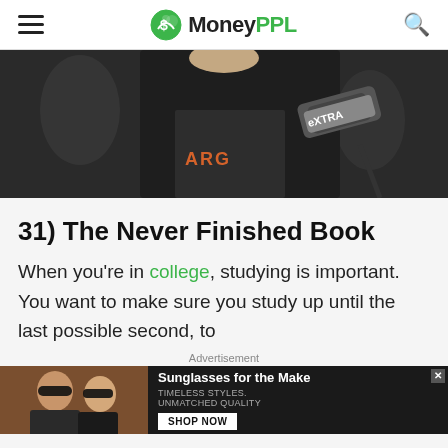MoneyPPL
[Figure (photo): Person in dark jacket and t-shirt being interviewed with an eXTRA microphone, crowd in background]
31) The Never Finished Book
When you're in college, studying is important. You want to make sure you study up until the last possible second, to
Advertisement
[Figure (photo): Advertisement banner: two women wearing sunglasses. Text: Sunglasses for the Make. TIMELESS STYLES. UNMATCHED QUALITY. SHOP NOW button.]